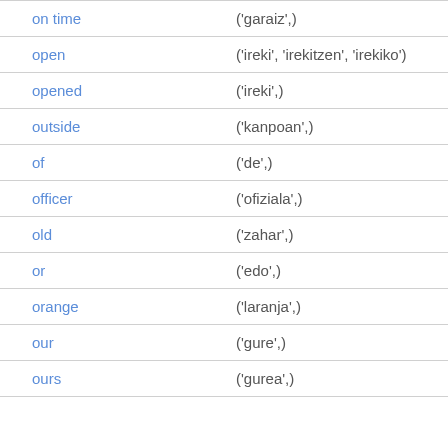| on time | ('garaiz',) |
| open | ('ireki', 'irekitzen', 'irekiko') |
| opened | ('ireki',) |
| outside | ('kanpoan',) |
| of | ('de',) |
| officer | ('ofiziala',) |
| old | ('zahar',) |
| or | ('edo',) |
| orange | ('laranja',) |
| our | ('gure',) |
| ours | ('gurea',) |